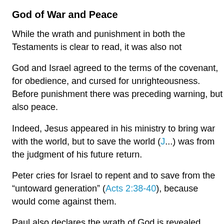God of War and Peace
While the wrath and punishment in both the Testaments is clear to read, it was also not
God and Israel agreed to the terms of the covenant, for obedience, and cursed for unrighteousness. Before punishment there was preceding warning, but also peace.
Indeed, Jesus appeared in his ministry to bring war with the world, but to save the world (J...), was from the judgment of his future return.
Peter cries for Israel to repent and to save from the “untoward generation” (Acts 2:38-40), because would come against them.
Paul also declares the wrath of God is revealed (Rom 1:18), and is given a dispensation of salvation to all men (1 Cor 97, 1 Tim 2:4),